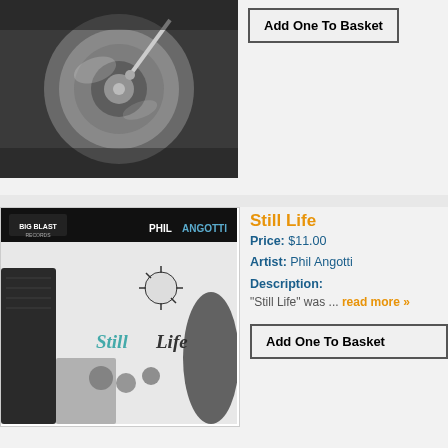[Figure (photo): Close-up photo of a gramophone/record player turntable, silver metallic finish]
Add One To Basket
Still Life
Price: $11.00
Artist: Phil Angotti
Description:
"Still Life" was ... read more »
[Figure (photo): Album cover for 'Still Life' by Phil Angotti on Big Blast Records. Black and white illustrated cover with whimsical characters and 'Still Life' written in decorative text.]
Add One To Basket
A Thin Thread
Price: $12.00
Artist: Phil Yates & the Affiliates
Description:
Formerly based out of Burlington, VT Phi...
[Figure (photo): Album cover for 'A Thin Thread' by Phil Yates and the Affiliates. Yellow/gold background with black starburst shape containing the band name text.]